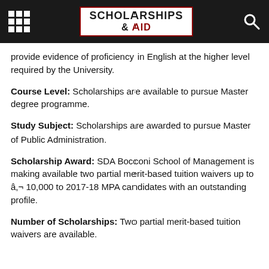SCHOLARSHIPS & AID
provide evidence of proficiency in English at the higher level required by the University.
Course Level: Scholarships are available to pursue Master degree programme.
Study Subject: Scholarships are awarded to pursue Master of Public Administration.
Scholarship Award: SDA Bocconi School of Management is making available two partial merit-based tuition waivers up to â,¬ 10,000 to 2017-18 MPA candidates with an outstanding profile.
Number of Scholarships: Two partial merit-based tuition waivers are available.